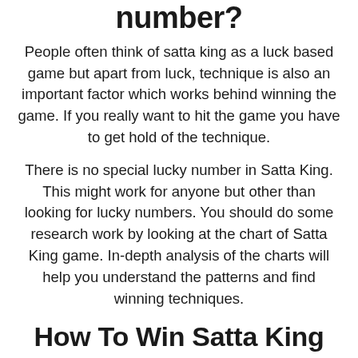number?
People often think of satta king as a luck based game but apart from luck, technique is also an important factor which works behind winning the game. If you really want to hit the game you have to get hold of the technique.
There is no special lucky number in Satta King. This might work for anyone but other than looking for lucky numbers. You should do some research work by looking at the chart of Satta King game. In-depth analysis of the charts will help you understand the patterns and find winning techniques.
How To Win Satta King Game?